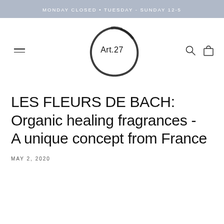MONDAY CLOSED • TUESDAY - SUNDAY 12-5
[Figure (logo): Art.27 logo: hand-drawn circular brush stroke encircling the text 'Art.27', with hamburger menu icon on left and search and bag icons on right]
LES FLEURS DE BACH: Organic healing fragrances - A unique concept from France
MAY 2, 2020